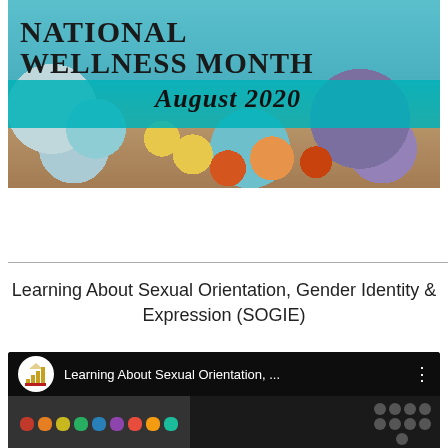[Figure (illustration): National Wellness Month August 2020 banner with fitness and food items (sneakers, fruits, yoga mat, dumbbells) on a wooden surface with a teal banner overlay showing the title text]
Learning About Sexual Orientation, Gender Identity & Expression (SOGIE)
[Figure (screenshot): YouTube video thumbnail for 'Learning About Sexual Orientation, ...' showing colorful rounded squares on left and grey circles on right, with institutional logo (columned building icon) in white circle]